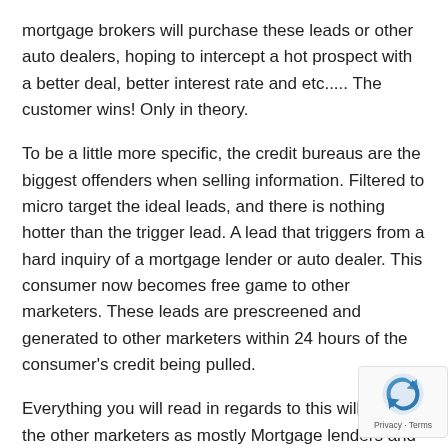mortgage brokers will purchase these leads or other auto dealers, hoping to intercept a hot prospect with a better deal, better interest rate and etc..... The customer wins! Only in theory.
To be a little more specific, the credit bureaus are the biggest offenders when selling information. Filtered to micro target the ideal leads, and there is nothing hotter than the trigger lead. A lead that triggers from a hard inquiry of a mortgage lender or auto dealer. This consumer now becomes free game to other marketers. These leads are prescreened and generated to other marketers within 24 hours of the consumer's credit being pulled.
Everything you will read in regards to this will refer to the other marketers as mostly Mortgage lenders and dealers. So I'll be the first to break the newsto you: Collection agencies are buying these prescreened